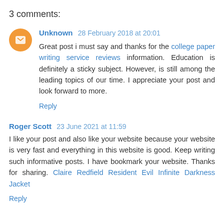3 comments:
Unknown 28 February 2018 at 20:01
Great post i must say and thanks for the college paper writing service reviews information. Education is definitely a sticky subject. However, is still among the leading topics of our time. I appreciate your post and look forward to more.
Reply
Roger Scott 23 June 2021 at 11:59
I like your post and also like your website because your website is very fast and everything in this website is good. Keep writing such informative posts. I have bookmark your website. Thanks for sharing. Claire Redfield Resident Evil Infinite Darkness Jacket
Reply